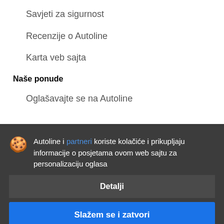Savjeti za sigurnost
Recenzije o Autoline
Karta veb sajta
Naše ponude
Oglašavajte se na Autoline
Autoline i partneri koriste kolačiće i prikupljaju informacije o posjetama ovom web sajtu za personalizaciju oglasa
Detalji
Slažem se i zatvori